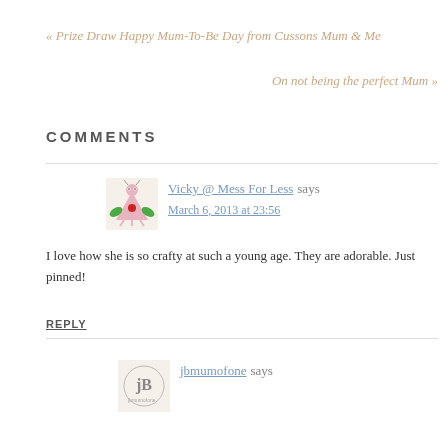« Prize Draw  Happy Mum-To-Be Day from Cussons Mum & Me
On not being the perfect Mum »
COMMENTS
Vicky @ Mess For Less says
March 6, 2013 at 23:56
I love how she is so crafty at such a young age. They are adorable. Just pinned!
REPLY
jbmumofone says